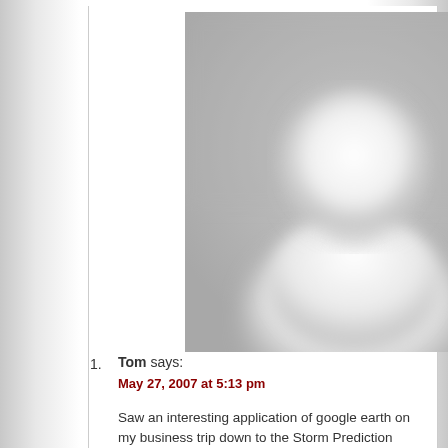[Figure (photo): Blurred/pixelated default avatar silhouette image showing an anonymous person outline in light gray tones against a gray background]
1. Tom says:
May 27, 2007 at 5:13 pm
Saw an interesting application of google earth on my business trip down to the Storm Prediction